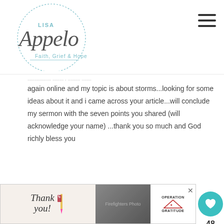Lisa Appelo - Faith, Grief & Hope
again online and my topic is about storms...looking for some ideas about it and i came across your article...will conclude my sermon with the seven points you shared (will acknowledge your name) ...thank you so much and God richly bless you
REPLY
BISHOP MBOGO SAYS
AT
This is surely a wonderful lesson on spiritual stor...
REPLY
[Figure (screenshot): Operation Gratitude ad banner with firefighters photo and thank you text]
WHAT'S NEXT → When You Need Real...